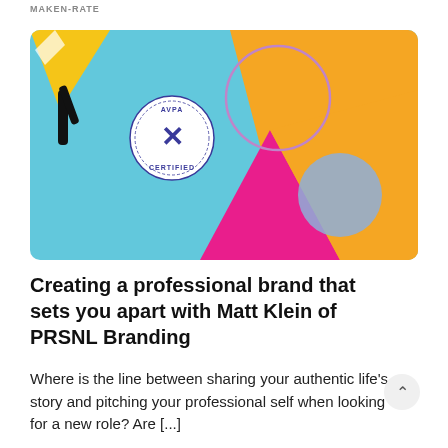MAKEN-RATE
[Figure (illustration): Colorful abstract branding illustration with light blue, orange/yellow, and pink geometric shapes. A black umbrella with yellow tip is in the upper left corner. A circular stamp/badge with 'AVPA CERTIFIED' and an X symbol is overlaid. A purple circle outline and a solid light blue circle appear on the orange section.]
Creating a professional brand that sets you apart with Matt Klein of PRSNL Branding
Where is the line between sharing your authentic life's story and pitching your professional self when looking for a new role? Are [...]